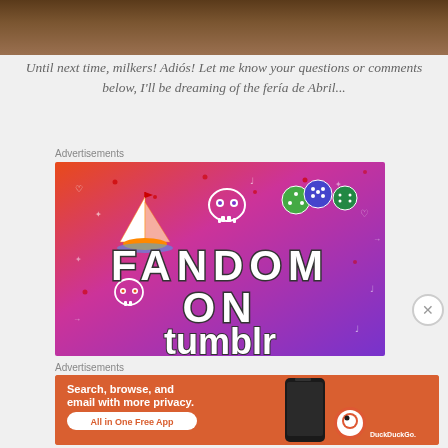[Figure (photo): Top portion of a photo showing a wooden surface background, dark brown tones]
Until next time, milkers! Adiós! Let me know your questions or comments below, I'll be dreaming of the fería de Abril...
Advertisements
[Figure (illustration): Fandom on Tumblr advertisement — colorful gradient background from orange to purple, featuring illustrated icons (sailboat, skulls, dice, musical notes), large text reading FANDOM ON tumblr]
Advertisements
[Figure (screenshot): DuckDuckGo advertisement on orange background — text: Search, browse, and email with more privacy. All in One Free App — with phone image and DuckDuckGo logo]